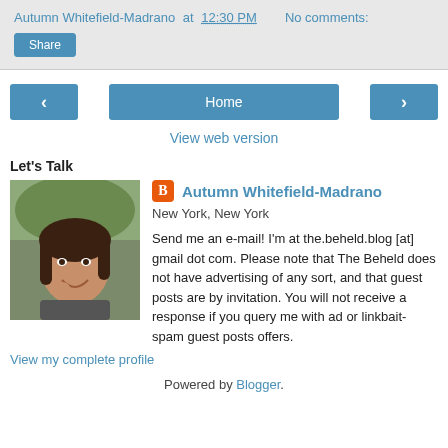Autumn Whitefield-Madrano at 12:30 PM   No comments:
Share
‹  Home  ›
View web version
Let's Talk
[Figure (photo): Profile photo of Autumn Whitefield-Madrano, a woman with brown hair, outdoors]
Autumn Whitefield-Madrano
New York, New York
Send me an e-mail! I'm at the.beheld.blog [at] gmail dot com. Please note that The Beheld does not have advertising of any sort, and that guest posts are by invitation. You will not receive a response if you query me with ad or linkbait-spam guest posts offers.
View my complete profile
Powered by Blogger.